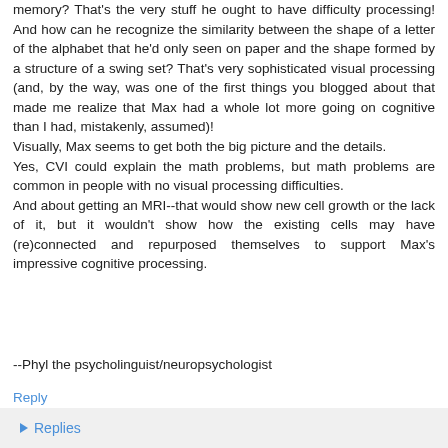memory? That's the very stuff he ought to have difficulty processing! And how can he recognize the similarity between the shape of a letter of the alphabet that he'd only seen on paper and the shape formed by a structure of a swing set? That's very sophisticated visual processing (and, by the way, was one of the first things you blogged about that made me realize that Max had a whole lot more going on cognitive than I had, mistakenly, assumed)! Visually, Max seems to get both the big picture and the details. Yes, CVI could explain the math problems, but math problems are common in people with no visual processing difficulties. And about getting an MRI--that would show new cell growth or the lack of it, but it wouldn't show how the existing cells may have (re)connected and repurposed themselves to support Max's impressive cognitive processing.
--Phyl the psycholinguist/neuropsychologist
Reply
Replies